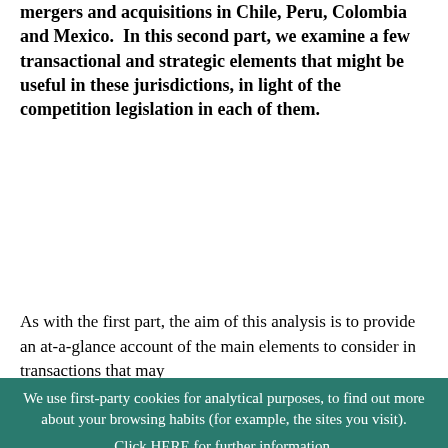mergers and acquisitions in Chile, Peru, Colombia and Mexico.  In this second part, we examine a few transactional and strategic elements that might be useful in these jurisdictions, in light of the competition legislation in each of them.
As with the first part, the aim of this analysis is to provide an at-a-glance account of the main elements to consider in transactions that may touch more than one jurisdiction, to better prepare us for planning our road map.
MEXICO
1) Is there a risk of gun jumping due to conduct obligations between signing and closing? If so, how is this risk usually mitigated?
Yes, in transactions in which a "concentration"
We use first-party cookies for analytical purposes, to find out more about your browsing habits (for example, the sites you visit). Click HERE for further information. You can accept all cookies by clicking "ACCEPT" or manage or reject them by clicking HERE